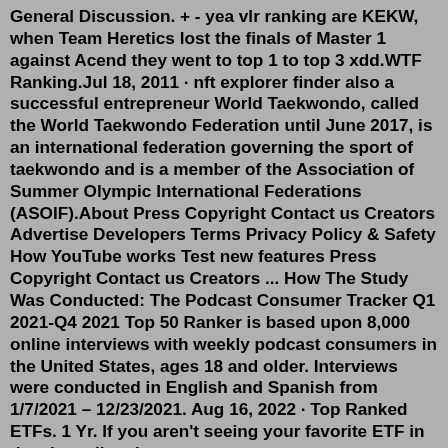General Discussion. + - yea vlr ranking are KEKW, when Team Heretics lost the finals of Master 1 against Acend they went to top 1 to top 3 xdd.WTF Ranking.Jul 18, 2011 · nft explorer finder also a successful entrepreneur World Taekwondo, called the World Taekwondo Federation until June 2017, is an international federation governing the sport of taekwondo and is a member of the Association of Summer Olympic International Federations (ASOIF).About Press Copyright Contact us Creators Advertise Developers Terms Privacy Policy & Safety How YouTube works Test new features Press Copyright Contact us Creators ... How The Study Was Conducted: The Podcast Consumer Tracker Q1 2021-Q4 2021 Top 50 Ranker is based upon 8,000 online interviews with weekly podcast consumers in the United States, ages 18 and older. Interviews were conducted in English and Spanish from 1/7/2021 – 12/23/2021. Aug 16, 2022 · Top Ranked ETFs. 1 Yr. If you aren't seeing your favorite ETF in the above list, the search button can default to Continuing...